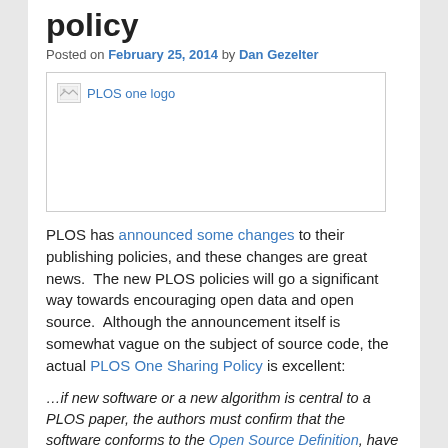policy
Posted on February 25, 2014 by Dan Gezelter
[Figure (photo): PLOS one logo — broken image placeholder with alt text 'PLOS one logo' shown as a link in blue]
PLOS has announced some changes to their publishing policies, and these changes are great news.  The new PLOS policies will go a significant way towards encouraging open data and open source.  Although the announcement itself is somewhat vague on the subject of source code, the actual PLOS One Sharing Policy is excellent:
…if new software or a new algorithm is central to a PLOS paper, the authors must confirm that the software conforms to the Open Source Definition, have deposited the following three items in an open software archive, and included in the submission as Supporting Information: